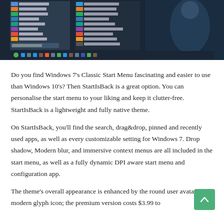[Figure (screenshot): Screenshot showing Windows 7 Classic Start Menu and Windows 10 Start Menu side by side, with taskbar at the bottom. Dark themed interface showing various programs like Character Map, Feedback Hub, Snipping Tool, Maps, Calculator, People, Sticky Notes, All Programs, and a search bar.]
Do you find Windows 7’s Classic Start Menu fascinating and easier to use than Windows 10’s? Then StartIsBack is a great option. You can personalise the start menu to your liking and keep it clutter-free. StartIsBack is a lightweight and fully native theme.
On StartIsBack, you’ll find the search, drag&drop, pinned and recently used apps, as well as every customizable setting for Windows 7. Drop shadow, Modern blur, and immersive context menus are all included in the start menu, as well as a fully dynamic DPI aware start menu and configuration app.
The theme’s overall appearance is enhanced by the round user avatar and modern glyph icon; the premium version costs $3.99 to